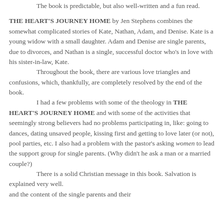The book is predictable, but also well-written and a fun read.
THE HEART'S JOURNEY HOME by Jen Stephens combines the somewhat complicated stories of Kate, Nathan, Adam, and Denise. Kate is a young widow with a small daughter. Adam and Denise are single parents, due to divorces, and Nathan is a single, successful doctor who's in love with his sister-in-law, Kate.
	Throughout the book, there are various love triangles and confusions, which, thankfully, are completely resolved by the end of the book.
	I had a few problems with some of the theology in THE HEART'S JOURNEY HOME and with some of the activities that seemingly strong believers had no problems participating in, like: going to dances, dating unsaved people, kissing first and getting to love later (or not), pool parties, etc. I also had a problem with the pastor's asking women to lead the support group for single parents. (Why didn't he ask a man or a married couple?)
	There is a solid Christian message in this book. Salvation is explained very well.
and the content of the single parents and their